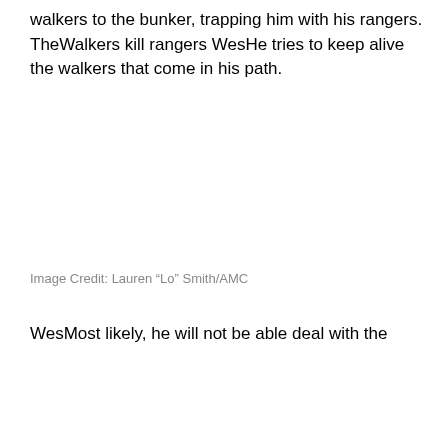walkers to the bunker, trapping him with his rangers. TheWalkers kill rangers WesHe tries to keep alive the walkers that come in his path.
Image Credit: Lauren “Lo” Smith/AMC
WesMost likely, he will not be able deal with the